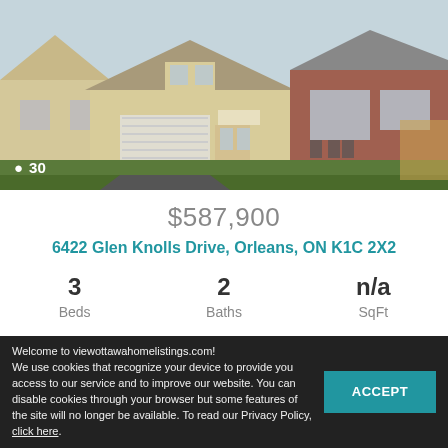[Figure (photo): Exterior photo of a two-story residential house with attached garage, beige/cream siding, brick accents, front landscaping. Camera icon with '30' photo count badge in lower left.]
$587,900
6422 Glen Knolls Drive, Orleans, ON K1C 2X2
3
Beds

2
Baths

n/a
SqFt
1
Welcome to viewottawahomelistings.com!
We use cookies that recognize your device to provide you access to our service and to improve our website. You can disable cookies through your browser but some features of the site will no longer be available. To read our Privacy Policy, click here.